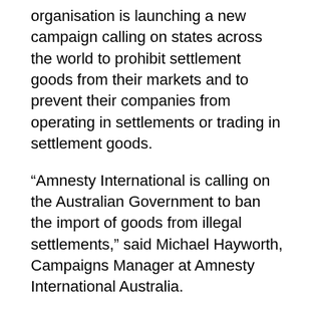organisation is launching a new campaign calling on states across the world to prohibit settlement goods from their markets and to prevent their companies from operating in settlements or trading in settlement goods.
“Amnesty International is calling on the Australian Government to ban the import of goods from illegal settlements,” said Michael Hayworth, Campaigns Manager at Amnesty International Australia.
“The illegal settlements are sustained by profits off the back of unlawfully appropriated Palestinian resources, including land, water and minerals. Australia should also lead if only the organisation is not